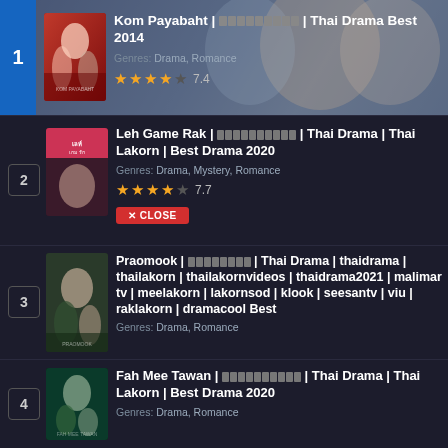1. Kom Payabaht | [Thai] | Thai Drama Best 2014
Genres: Drama, Romance
Rating: 7.4
2. Leh Game Rak | [Thai] | Thai Drama | Thai Lakorn | Best Drama 2020
Genres: Drama, Mystery, Romance
Rating: 7.7
3. Praomook | [Thai] | Thai Drama | thaidrama | thailakorn | thailakornvideos | thaidrama2021 | malimar tv | meelakorn | lakornsod | klook | seesantv | viu | raklakorn | dramacool Best
Genres: Drama, Romance
4. Fah Mee Tawan | [Thai] | Thai Drama | Thai Lakorn | Best Drama 2020
Genres: Drama, Romance